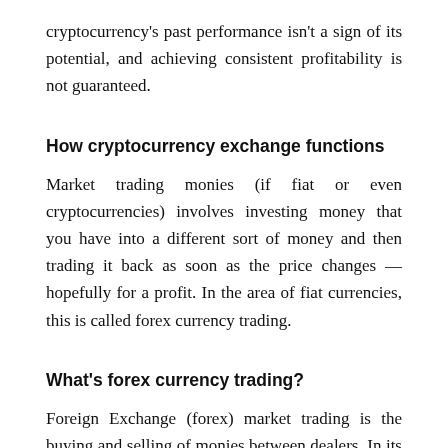cryptocurrency's past performance isn't a sign of its potential, and achieving consistent profitability is not guaranteed.
How cryptocurrency exchange functions
Market trading monies (if fiat or even cryptocurrencies) involves investing money that you have into a different sort of money and then trading it back as soon as the price changes — hopefully for a profit. In the area of fiat currencies, this is called forex currency trading.
What's forex currency trading?
Foreign Exchange (forex) market trading is the buying and selling of monies between dealers. In its simplest form, this entails exchanging money that you have into a different, then exchanging it back in a subsequent date.